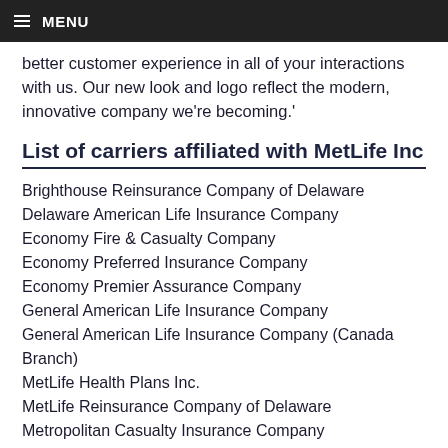MENU
better customer experience in all of your interactions with us. Our new look and logo reflect the modern, innovative company we're becoming.'
List of carriers affiliated with MetLife Inc
Brighthouse Reinsurance Company of Delaware
Delaware American Life Insurance Company
Economy Fire & Casualty Company
Economy Preferred Insurance Company
Economy Premier Assurance Company
General American Life Insurance Company
General American Life Insurance Company (Canada Branch)
MetLife Health Plans Inc.
MetLife Reinsurance Company of Delaware
Metropolitan Casualty Insurance Company
Metropolitan Direct Property and Casualty Insurance